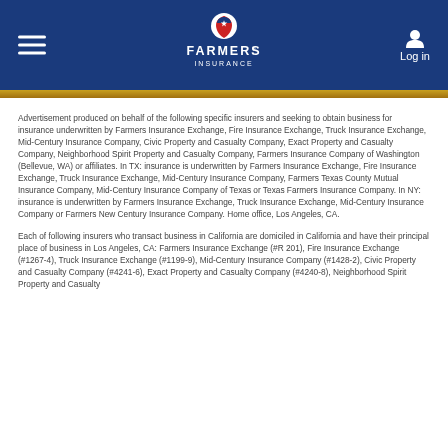Farmers Insurance — Navigation header with logo and login
Advertisement produced on behalf of the following specific insurers and seeking to obtain business for insurance underwritten by Farmers Insurance Exchange, Fire Insurance Exchange, Truck Insurance Exchange, Mid-Century Insurance Company, Civic Property and Casualty Company, Exact Property and Casualty Company, Neighborhood Spirit Property and Casualty Company, Farmers Insurance Company of Washington (Bellevue, WA) or affiliates. In TX: insurance is underwritten by Farmers Insurance Exchange, Fire Insurance Exchange, Truck Insurance Exchange, Mid-Century Insurance Company, Farmers Texas County Mutual Insurance Company, Mid-Century Insurance Company of Texas or Texas Farmers Insurance Company. In NY: insurance is underwritten by Farmers Insurance Exchange, Truck Insurance Exchange, Mid-Century Insurance Company or Farmers New Century Insurance Company. Home office, Los Angeles, CA.
Each of following insurers who transact business in California are domiciled in California and have their principal place of business in Los Angeles, CA: Farmers Insurance Exchange (#R 201), Fire Insurance Exchange (#1267-4), Truck Insurance Exchange (#1199-9), Mid-Century Insurance Company (#1428-2), Civic Property and Casualty Company (#4241-6), Exact Property and Casualty Company (#4240-8), Neighborhood Spirit Property and Casualty Company...